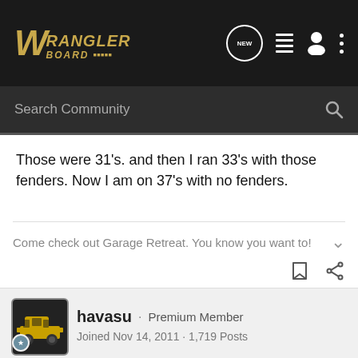WranglerBoard - Search Community
Those were 31's. and then I ran 33's with those fenders. Now I am on 37's with no fenders.
Come check out Garage Retreat. You know you want to!
havasu · Premium Member
Joined Nov 14, 2011 · 1,719 Posts
#4 · Jan 24, 2012